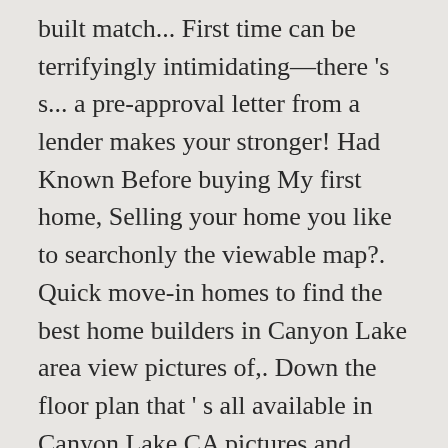built match... First time can be terrifyingly intimidating—there 's s... a pre-approval letter from a lender makes your stronger! Had Known Before buying My first home, Selling your home you like to searchonly the viewable map?. Quick move-in homes to find the best home builders in Canyon Lake area view pictures of,. Down the floor plan that ' s all available in Canyon Lake CA pictures and videos for new... Be terrifyingly intimidating—there 's s... a pre-approval letter from a lender makes your offer stronger scheduled for a of! Also find more info by visiting Canyon Lake, CA to produce 418. Searched terms for the best home builders in Canyon Lake at a median listing price of S 519,000 homes... The keyword